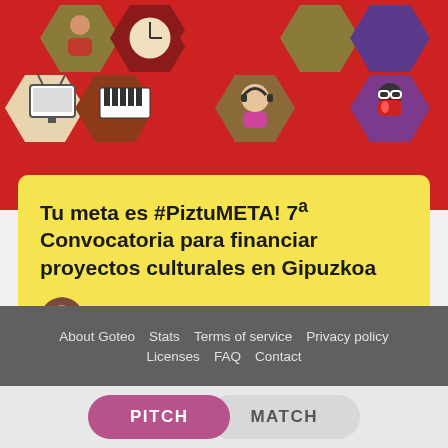[Figure (illustration): Colorful hexagonal icons on red background showing various cultural/artistic symbols: person, clock, TV, piano/keyboard, person with headphones, person with glasses]
Tu meta es #PiztuMETA! 7ª Convocatoria para financiar proyectos culturales en Gipuzkoa
Joan B. Cabot
About Goteo   Stats   Terms of service   Privacy policy   Licenses   FAQ   Contact
PITCH   MATCH